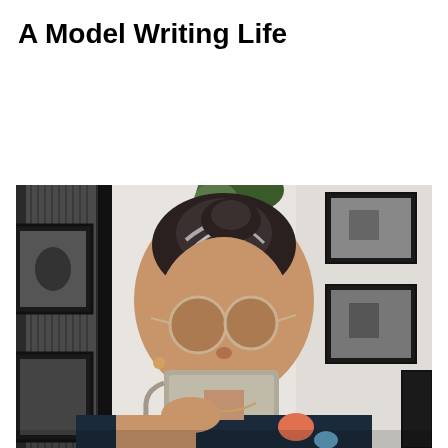A Model Writing Life
[Figure (photo): A woman with grey-streaked dark hair in an updo, wearing round sunglasses and a floral top, drinking from a ceramic mug. She is seated in a cafe-like setting with framed black-and-white photographs on white brick walls and a plant visible in the background.]